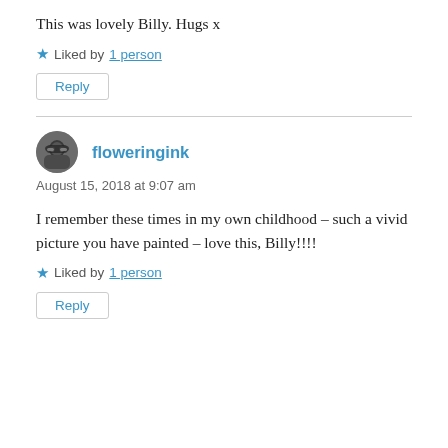This was lovely Billy. Hugs x
★ Liked by 1 person
Reply
floweringink
August 15, 2018 at 9:07 am
I remember these times in my own childhood – such a vivid picture you have painted – love this, Billy!!!!
★ Liked by 1 person
Reply